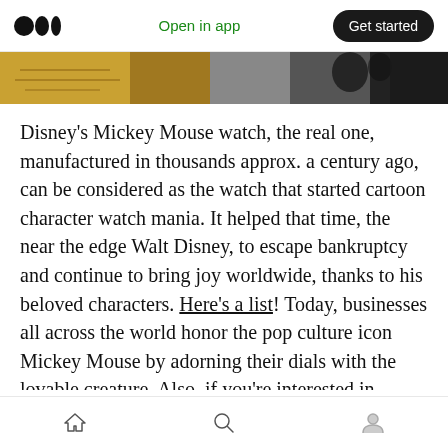Open in app  Get started
[Figure (photo): Partial view of a vintage Mickey Mouse watch and black and white photo strip]
Disney’s Mickey Mouse watch, the real one, manufactured in thousands approx. a century ago, can be considered as the watch that started cartoon character watch mania. It helped that time, the near the edge Walt Disney, to escape bankruptcy and continue to bring joy worldwide, thanks to his beloved characters. Here’s a list! Today, businesses all across the world honor the pop culture icon Mickey Mouse by adorning their dials with the lovable creature. Also, if you’re interested in learning more about the history of
Home  Search  Profile